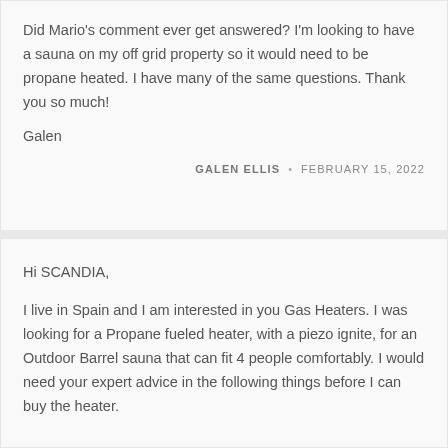Did Mario's comment ever get answered? I'm looking to have a sauna on my off grid property so it would need to be propane heated. I have many of the same questions. Thank you so much!

Galen
GALEN ELLIS • FEBRUARY 15, 2022
Hi SCANDIA,
I live in Spain and I am interested in you Gas Heaters. I was looking for a Propane fueled heater, with a piezo ignite, for an Outdoor Barrel sauna that can fit 4 people comfortably. I would need your expert advice in the following things before I can buy the heater.